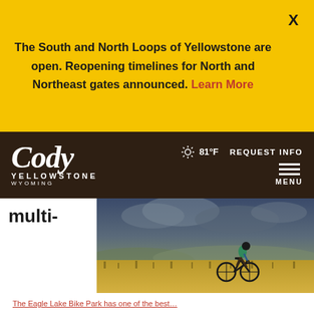The South and North Loops of Yellowstone are open. Reopening timelines for North and Northeast gates announced. Learn More
Cody Yellowstone Wyoming | 81°F | REQUEST INFO | MENU
multi-
[Figure (photo): Mountain biker riding through golden grassland under dramatic stormy sky]
The Eagle Lake Bike Park has one of the best…